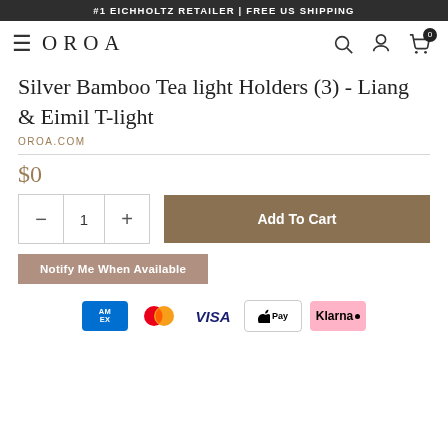#1 EICHHOLTZ RETAILER | FREE US SHIPPING
[Figure (logo): OROA logo with hamburger menu icon and navigation icons (search, account, cart with 0 badge)]
Silver Bamboo Tea light Holders (3) - Liang & Eimil T-light
OROA.COM
$0
1
Add To Cart
Notify Me When Available
[Figure (infographic): Payment method icons: American Express, Mastercard, Visa, Apple Pay, Klarna]